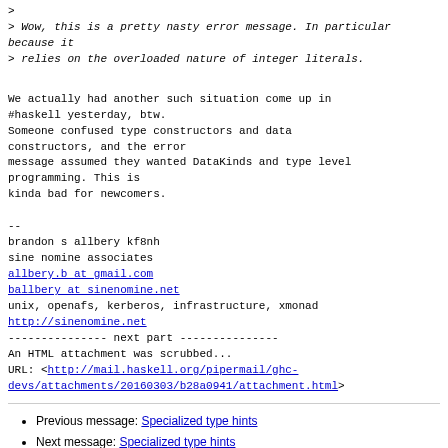>
> Wow, this is a pretty nasty error message. In particular because it
> relies on the overloaded nature of integer literals.
We actually had another such situation come up in #haskell yesterday, btw.
Someone confused type constructors and data constructors, and the error
message assumed they wanted DataKinds and type level programming. This is
kinda bad for newcomers.
--
brandon s allbery kf8nh
sine nomine associates
allbery.b at gmail.com
ballbery at sinenomine.net
unix, openafs, kerberos, infrastructure, xmonad
http://sinenomine.net
--------------- next part ---------------
An HTML attachment was scrubbed...
URL: <http://mail.haskell.org/pipermail/ghc-devs/attachments/20160303/b28a0941/attachment.html>
Previous message: Specialized type hints
Next message: Specialized type hints
Messages sorted by: [ date ] [ thread ] [ subject ] [ author ]